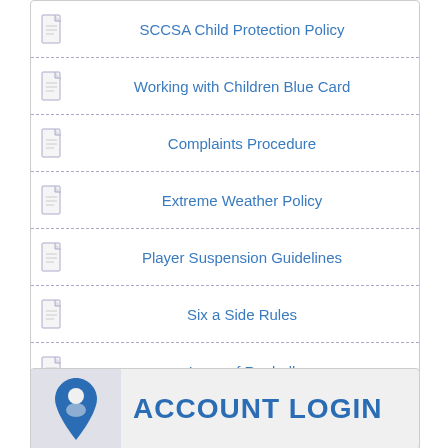SCCSA Child Protection Policy
Working with Children Blue Card
Complaints Procedure
Extreme Weather Policy
Player Suspension Guidelines
Six a Side Rules
Laws of Rooball
Team sheet Book
Good Sports Policy
[Figure (logo): Account Login button with person/location pin icon and bold blue text ACCOUNT LOGIN]